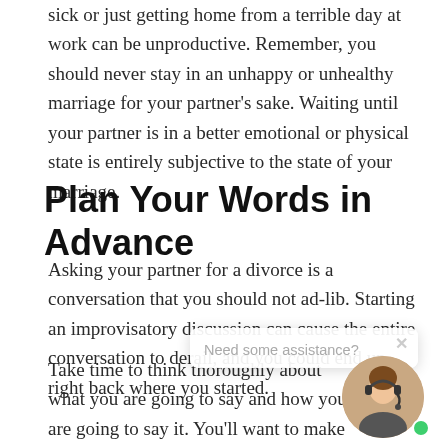sick or just getting home from a terrible day at work can be unproductive. Remember, you should never stay in an unhappy or unhealthy marriage for your partner's sake. Waiting until your partner is in a better emotional or physical state is entirely subjective to the state of your marriage.
Plan Your Words in Advance
Asking your partner for a divorce is a conversation that you should not ad-lib. Starting an improvisatory discussion can cause the entire conversation to derail, and you could end up right back where you started.
Take time to think thoroughly about what you are going to say and how you are going to say it. You'll want to make sure that you respectfully and clearly state that you are unhappy and why you feel that way.